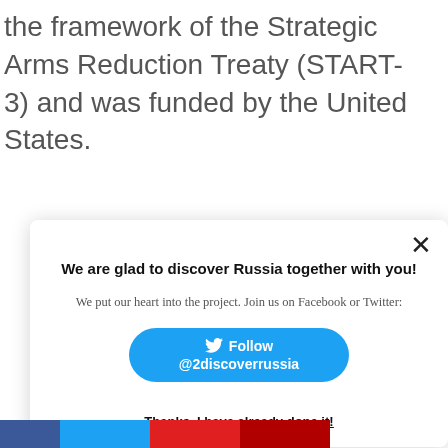the framework of the Strategic Arms Reduction Treaty (START-3) and was funded by the United States.
We are glad to discover Russia together with you!
We put our heart into the project. Join us on Facebook or Twitter:
Follow @2discoverrussia
Thanks, I have already done it!